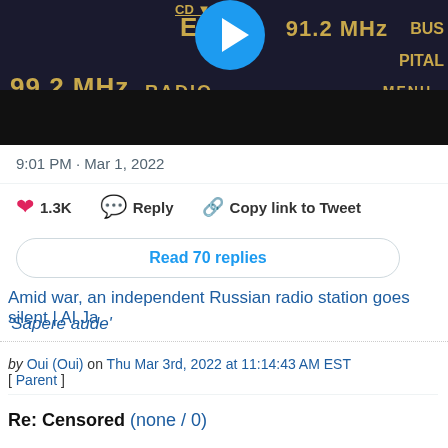[Figure (photo): Cropped photo of a car radio display showing frequencies 99.2 MHz and 91.2 MHz, with a play button overlay in the center]
9:01 PM · Mar 1, 2022
1.3K  Reply  Copy link to Tweet
Read 70 replies
Amid war, an independent Russian radio station goes silent | Al Ja
'Sapere aude'
by Oui (Oui) on Thu Mar 3rd, 2022 at 11:14:43 AM EST
[ Parent ]
Re: Censored (none / 0)